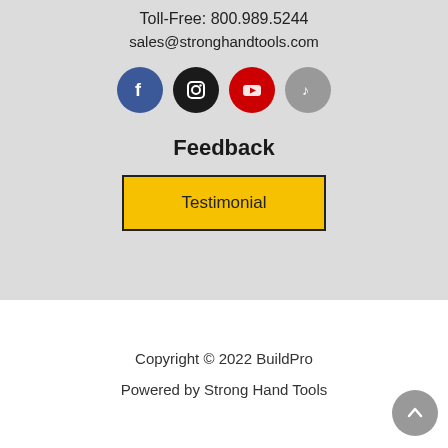Toll-Free: 800.989.5244
sales@stronghandtools.com
[Figure (illustration): Four social media icons in circles: Facebook (blue), Instagram (black), YouTube (red), TikTok (gray)]
Feedback
Testimonial
Copyright © 2022 BuildPro
Powered by Strong Hand Tools